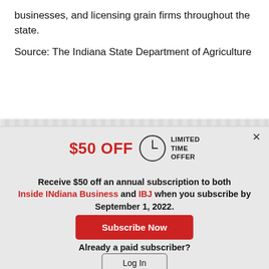businesses, and licensing grain firms throughout the state.
Source: The Indiana State Department of Agriculture
[Figure (screenshot): Promotional overlay/modal offering $50 off an annual subscription to Inside INdiana Business and IBJ when subscribing by September 1, 2022. Includes a clock icon with 'LIMITED TIME OFFER' text, a red 'Subscribe Now' button, and a 'Log In' button for existing subscribers.]